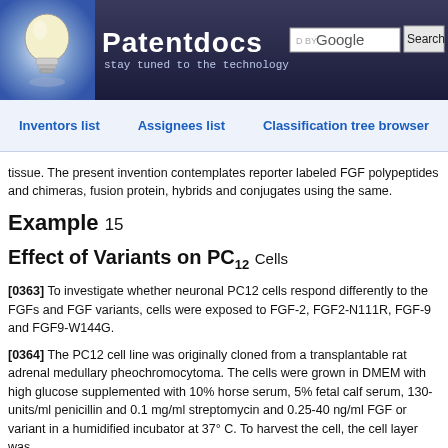[Figure (logo): Patentdocs website header with lightbulb logo, site name 'Patentdocs', tagline 'stay tuned to the technology', and Google search box]
Inventors list   Assignees list   Classification tree browser
tissue. The present invention contemplates reporter labeled FGF polypeptides and chimeras, fusion protein, hybrids and conjugates using the same.
Example 15
Effect of Variants on PC12 Cells
[0363] To investigate whether neuronal PC12 cells respond differently to the FGFs and FGF variants, cells were exposed to FGF-2, FGF2-N111R, FGF-9 and FGF9-W144G.
[0364] The PC12 cell line was originally cloned from a transplantable rat adrenal medullary pheochromocytoma. The cells were grown in DMEM with high glucose supplemented with 10% horse serum, 5% fetal calf serum, 130-units/ml penicillin and 0.1 mg/ml streptomycin and 0.25-40 ng/ml FGF or variant in a humidified incubator at 37° C. To harvest the cell, the cell layer was